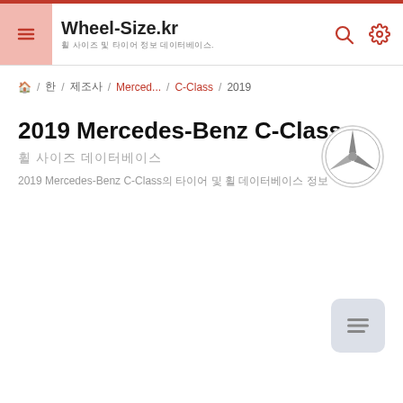Wheel-Size.kr
홈 / 제조사 / Merced... / C-Class / 2019
2019 Mercedes-Benz C-Class
휠 사이즈 데이터베이스
2019 Mercedes-Benz C-Class의 타이어 및 휠 데이터베이스 정보